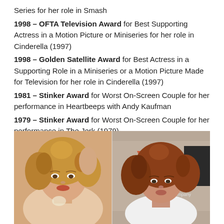Series for her role in Smash
1998 – OFTA Television Award for Best Supporting Actress in a Motion Picture or Miniseries for her role in Cinderella (1997)
1998 – Golden Satellite Award for Best Actress in a Supporting Role in a Miniseries or a Motion Picture Made for Television for her role in Cinderella (1997)
1981 – Stinker Award for Worst On-Screen Couple for her performance in Heartbeeps with Andy Kaufman
1979 – Stinker Award for Worst On-Screen Couple for her performance in The Jerk (1979)
With Steve Martin
[Figure (photo): Two side-by-side photos of an actress with curly reddish-blonde hair: left shows a younger glamour shot, right shows a more recent red carpet photo]